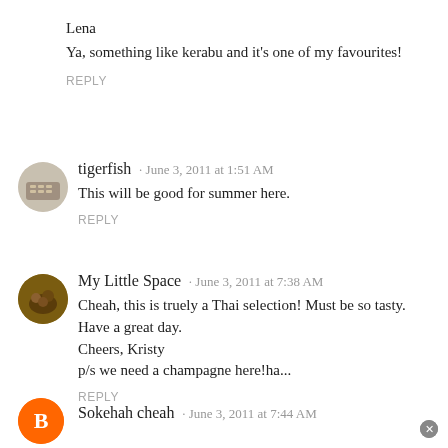Lena
Ya, something like kerabu and it's one of my favourites!
REPLY
tigerfish · June 3, 2011 at 1:51 AM
This will be good for summer here.
REPLY
My Little Space · June 3, 2011 at 7:38 AM
Cheah, this is truely a Thai selection! Must be so tasty. Have a great day.
Cheers, Kristy
p/s we need a champagne here!ha...
REPLY
Sokehah cheah · June 3, 2011 at 7:44 AM